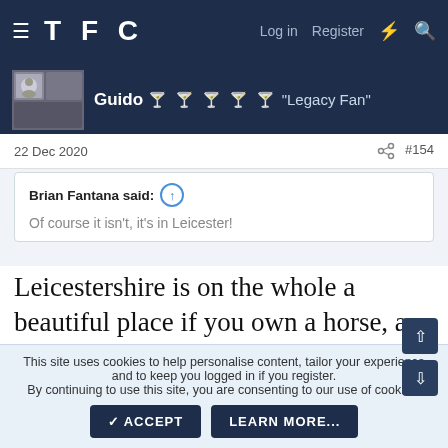TFC   Log in   Register
Guido 🏆🏆🏆🏆🏆 "Legacy Fan"
22 Dec 2020   #154
Brian Fantana said:   Of course it isn't, it's in Leicester!
Leicestershire is on the whole a beautiful place if you own a horse, a Labrador and go pheasant shooting. But yeah, I've been past there ground and training ground (I think this new one is either on the same location as the old or it's on the same road???) and it's not that
This site uses cookies to help personalise content, tailor your experience and to keep you logged in if you register.
By continuing to use this site, you are consenting to our use of cookies.